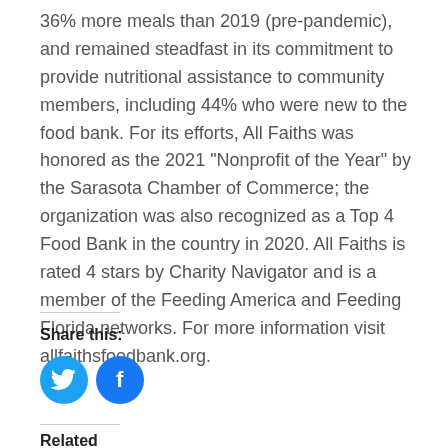36% more meals than 2019 (pre-pandemic), and remained steadfast in its commitment to provide nutritional assistance to community members, including 44% who were new to the food bank. For its efforts, All Faiths was honored as the 2021 "Nonprofit of the Year" by the Sarasota Chamber of Commerce; the organization was also recognized as a Top 4 Food Bank in the country in 2020. All Faiths is rated 4 stars by Charity Navigator and is a member of the Feeding America and Feeding Florida networks. For more information visit allfaithsfoodbank.org.
Share this:
[Figure (illustration): Two social media share buttons: Twitter (blue bird icon) and Facebook (blue f icon)]
Related